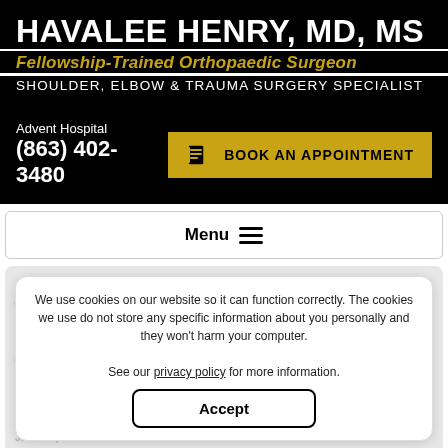HAVALEE HENRY, MD, MS
Fellowship-Trained Orthopaedic Surgeon
SHOULDER, ELBOW & TRAUMA SURGERY SPECIALIST
Advent Hospital
(863) 402-3480
BOOK AN APPOINTMENT
Menu
SHOULDER JOINT REPLACEMENT
Havalee Henry Orthopaedic Surgeon • Sebring, FL // Patient Info // Shoulder // Shoulder Procedures // Shoulder Joint Replacement
We use cookies on our website so it can function correctly. The cookies we use do not store any specific information about you personally and they won't harm your computer.

See our privacy policy for more information.
Accept